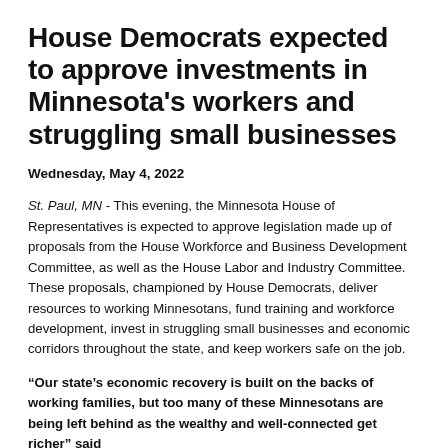House Democrats expected to approve investments in Minnesota's workers and struggling small businesses
Wednesday, May 4, 2022
St. Paul, MN - This evening, the Minnesota House of Representatives is expected to approve legislation made up of proposals from the House Workforce and Business Development Committee, as well as the House Labor and Industry Committee. These proposals, championed by House Democrats, deliver resources to working Minnesotans, fund training and workforce development, invest in struggling small businesses and economic corridors throughout the state, and keep workers safe on the job.
“Our state’s economic recovery is built on the backs of working families, but too many of these Minnesotans are being left behind as the wealthy and well-connected get richer,” said